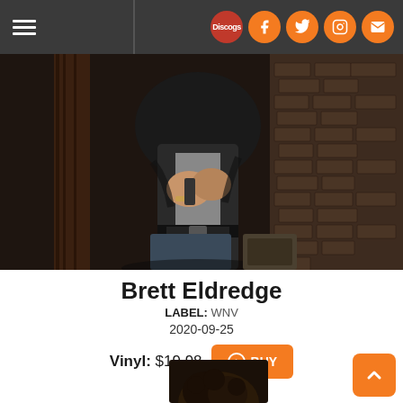Navigation header with hamburger menu and social icons (Discogs, Facebook, Twitter, Instagram, Email)
[Figure (photo): A person in dark jeans and a dark jacket, holding something with their hands crossed in front of them, standing near wooden and brick surfaces]
Brett Eldredge
LABEL: WNV
2020-09-25
Vinyl: $19.98
[Figure (photo): Partial view of album artwork showing a person's head with dark curly hair]
[Figure (other): Back to top arrow button (orange rounded square with upward chevron)]